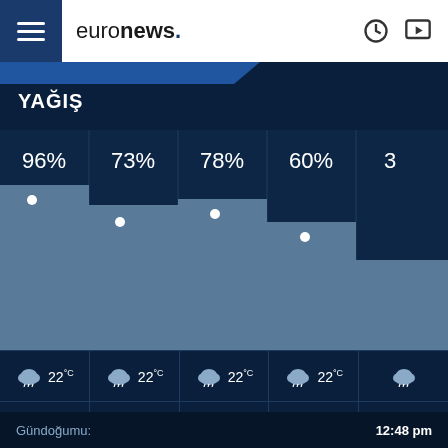euronews.
YAĞIŞ
[Figure (bar-chart): YAĞIŞ]
22°C  22°C  22°C  22°C
19:00  20:00  21:00  22:00  23:
Gündoğumu:  12:48 pm